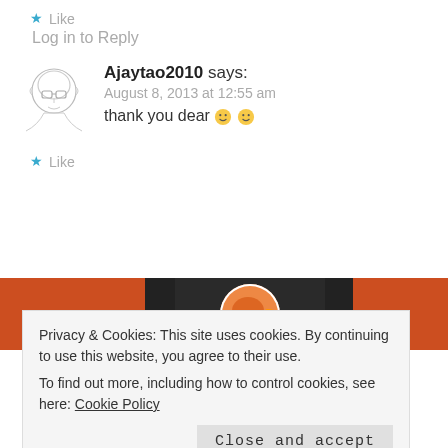★ Like
Log in to Reply
Ajaytao2010 says: August 8, 2013 at 12:55 am
thank you dear 🙂 🙂
★ Like
[Figure (screenshot): DuckDuckGo banner with orange and black colors and duck logo]
Privacy & Cookies: This site uses cookies. By continuing to use this website, you agree to their use. To find out more, including how to control cookies, see here: Cookie Policy
Close and accept